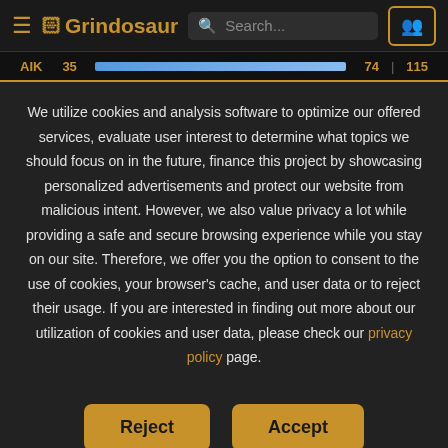Grindosaur — Search bar and navigation header
AIK  35  74 | 115
We utilize cookies and analysis software to optimize our offered services, evaluate user interest to determine what topics we should focus on in the future, finance this project by showcasing personalized advertisements and protect our website from malicious intent. However, we also value privacy a lot while providing a safe and secure browsing experience while you stay on our site. Therefore, we offer you the option to consent to the use of cookies, your browser's cache, and user data or to reject their usage. If you are interested in finding out more about our utilization of cookies and user data, please check our privacy policy page.
Reject
Accept